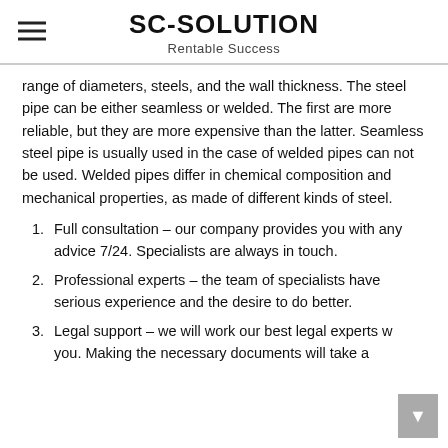SC-SOLUTION
Rentable Success
range of diameters, steels, and the wall thickness. The steel pipe can be either seamless or welded. The first are more reliable, but they are more expensive than the latter. Seamless steel pipe is usually used in the case of welded pipes can not be used. Welded pipes differ in chemical composition and mechanical properties, as made of different kinds of steel.
Full consultation – our company provides you with any advice 7/24. Specialists are always in touch.
Professional experts – the team of specialists have serious experience and the desire to do better.
Legal support – we will work our best legal experts with you. Making the necessary documents will take a